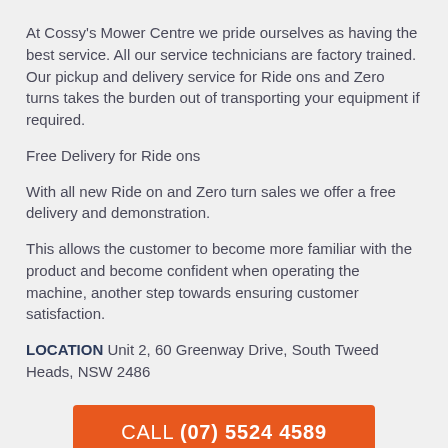At Cossy's Mower Centre we pride ourselves as having the best service. All our service technicians are factory trained. Our pickup and delivery service for Ride ons and Zero turns takes the burden out of transporting your equipment if required.
Free Delivery for Ride ons
With all new Ride on and Zero turn sales we offer a free delivery and demonstration.
This allows the customer to become more familiar with the product and become confident when operating the machine, another step towards ensuring customer satisfaction.
LOCATION Unit 2, 60 Greenway Drive, South Tweed Heads, NSW 2486
CALL (07) 5524 4589